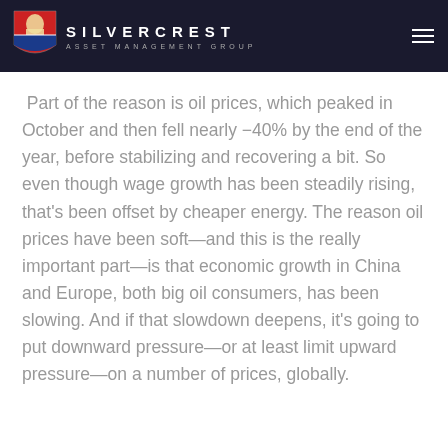SILVERCREST ASSET MANAGEMENT GROUP
Part of the reason is oil prices, which peaked in October and then fell nearly −40% by the end of the year, before stabilizing and recovering a bit. So even though wage growth has been steadily rising, that's been offset by cheaper energy. The reason oil prices have been soft—and this is the really important part—is that economic growth in China and Europe, both big oil consumers, has been slowing. And if that slowdown deepens, it's going to put downward pressure—or at least limit upward pressure—on a number of prices, globally.